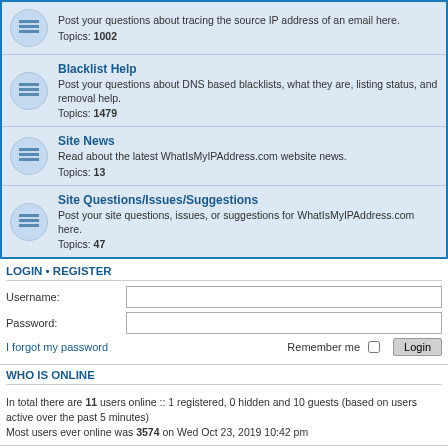Post your questions about tracing the source IP address of an email here. Topics: 1002
Blacklist Help. Post your questions about DNS based blacklists, what they are, listing status, and removal help. Topics: 1479
Site News. Read about the latest WhatIsMyIPAddress.com website news. Topics: 13
Site Questions/Issues/Suggestions. Post your site questions, issues, or suggestions for WhatIsMyIPAddress.com here. Topics: 47
LOGIN • REGISTER
Username:
Password:
I forgot my password
Remember me
WHO IS ONLINE
In total there are 11 users online :: 1 registered, 0 hidden and 10 guests (based on users active over the past 5 minutes)
Most users ever online was 3574 on Wed Oct 23, 2019 10:42 pm
STATISTICS